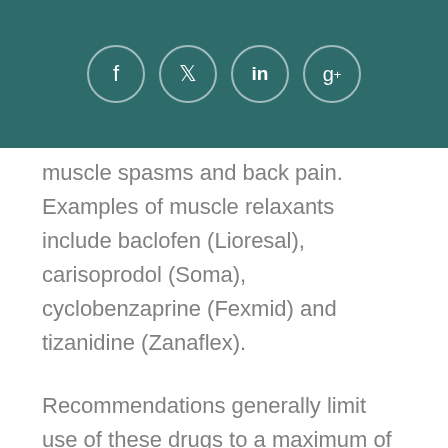[Figure (other): Social media share buttons: Facebook (f), Twitter (bird), LinkedIn (in), Google+ (g+) icons in circles on a teal background header bar]
muscle spasms and back pain. Examples of muscle relaxants include baclofen (Lioresal), carisoprodol (Soma), cyclobenzaprine (Fexmid) and tizanidine (Zanaflex).
Recommendations generally limit use of these drugs to a maximum of three weeks, since they have not been shown to work for muscle spasms beyond that time.
Leonard said these medications can